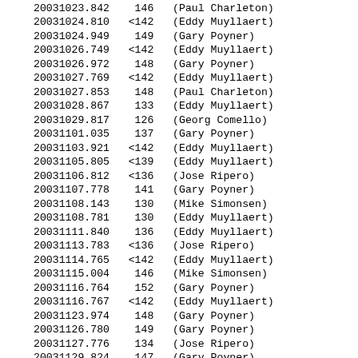| JD | Value | Observer |
| --- | --- | --- |
| 20031023.842 | 146 | (Paul Charleton) |
| 20031024.810 | <142 | (Eddy Muyllaert) |
| 20031024.949 | 149 | (Gary Poyner) |
| 20031026.749 | <142 | (Eddy Muyllaert) |
| 20031026.972 | 148 | (Gary Poyner) |
| 20031027.769 | <142 | (Eddy Muyllaert) |
| 20031027.853 | 148 | (Paul Charleton) |
| 20031028.867 | 133 | (Eddy Muyllaert) |
| 20031029.817 | 126 | (Georg Comello) |
| 20031101.035 | 137 | (Gary Poyner) |
| 20031103.921 | <142 | (Eddy Muyllaert) |
| 20031105.805 | <139 | (Eddy Muyllaert) |
| 20031106.812 | <136 | (Jose Ripero) |
| 20031107.778 | 141 | (Gary Poyner) |
| 20031108.143 | 130 | (Mike Simonsen) |
| 20031108.781 | 130 | (Eddy Muyllaert) |
| 20031111.840 | 136 | (Eddy Muyllaert) |
| 20031113.783 | <136 | (Jose Ripero) |
| 20031114.765 | <142 | (Eddy Muyllaert) |
| 20031115.004 | 146 | (Mike Simonsen) |
| 20031116.764 | 152 | (Gary Poyner) |
| 20031116.767 | <142 | (Eddy Muyllaert) |
| 20031123.974 | 148 | (Gary Poyner) |
| 20031126.780 | 149 | (Gary Poyner) |
| 20031127.776 | 134 | (Jose Ripero) |
| 20031129.824 | 147 | (Gary Poyner) |
| 20031203.241 | 130 | (Eddy Muyllaert) |
| 20031203.994 | 131 | (Mike Simonsen) |
| 20031207.738 | 146 | (Gary Poyner) |
| 20031223.216 | <132 | (Maciej Reszelski) |